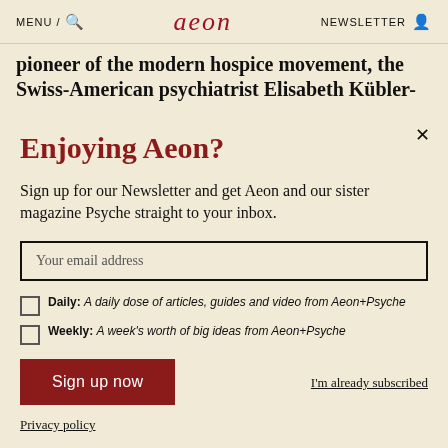MENU / [search icon] aeon NEWSLETTER [user icon]
pioneer of the modern hospice movement, the Swiss-American psychiatrist Elisabeth Kübler-
Enjoying Aeon?
Sign up for our Newsletter and get Aeon and our sister magazine Psyche straight to your inbox.
Your email address
Daily: A daily dose of articles, guides and video from Aeon+Psyche
Weekly: A week's worth of big ideas from Aeon+Psyche
Sign up now
I'm already subscribed
Privacy policy